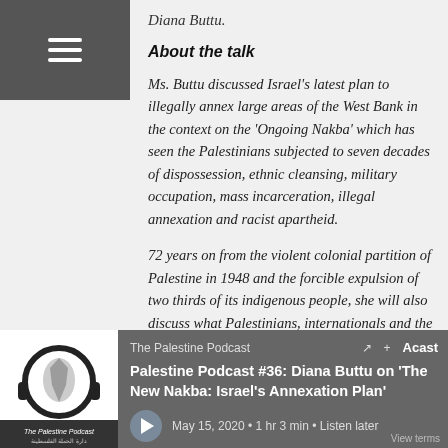Diana Buttu.
About the talk
Ms. Buttu discussed Israel's latest plan to illegally annex large areas of the West Bank in the context on the 'Ongoing Nakba' which has seen the Palestinians subjected to seven decades of dispossession, ethnic cleansing, military occupation, mass incarceration, illegal annexation and racist apartheid.
72 years on from the violent colonial partition of Palestine in 1948 and the forcible expulsion of two thirds of its indigenous people, she will also discuss what Palestinians, internationals and the international community can do to prevent this
[Figure (other): The Palestine Podcast logo showing headphones around a map of Palestine]
The Palestine Podcast
Palestine Podcast #36: Diana Buttu on 'The New Nakba: Israel's Annexation Plan'
May 15, 2020 • 1 hr 3 min • Listen later